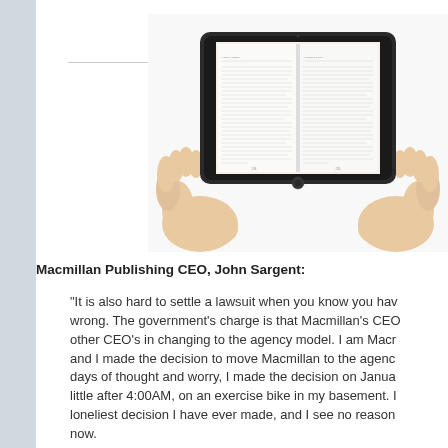[Figure (photo): Hands holding a tablet/iPad displaying an open book with two pages of text visible]
Macmillan Publishing CEO, John Sargent:
"It is also hard to settle a lawsuit when you know you have done nothing wrong. The government's charge is that Macmillan's CEO colluded with other CEO's in changing to the agency model. I am Macmillan's CEO, and I made the decision to move Macmillan to the agency model. After days of thought and worry, I made the decision on January 22nd, 2010, a little after 4:00AM, on an exercise bike in my basement. It was the loneliest decision I have ever made, and I see no reason to lie about it now.